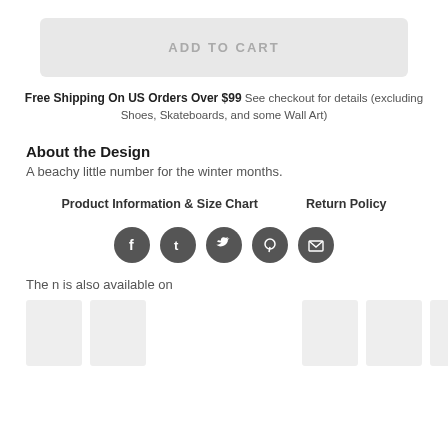ADD TO CART
Free Shipping On US Orders Over $99 See checkout for details (excluding Shoes, Skateboards, and some Wall Art)
About the Design
A beachy little number for the winter months.
Product Information & Size Chart
Return Policy
[Figure (infographic): Social sharing icons: Facebook, Tumblr, Twitter, Pinterest, Email — dark grey circles]
The n is also available on
[Figure (photo): Row of product thumbnail placeholders (light grey rectangles)]